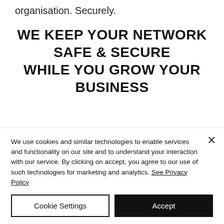organisation. Securely.
WE KEEP YOUR NETWORK SAFE & SECURE WHILE YOU GROW YOUR BUSINESS
At e-Lock, we have more than 22 years of experience in helping
We use cookies and similar technologies to enable services and functionality on our site and to understand your interaction with our service. By clicking on accept, you agree to our use of such technologies for marketing and analytics. See Privacy Policy